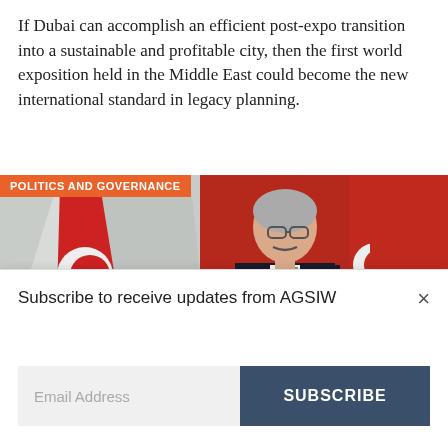If Dubai can accomplish an efficient post-expo transition into a sustainable and profitable city, then the first world exposition held in the Middle East could become the new international standard in legacy planning.
[Figure (photo): Photo of a man in a suit and green tie speaking at a podium, with red Turkish flags visible in the background. An orange banner in the top-left reads 'POLITICS AND GOVERNANCE'.]
Subscribe to receive updates from AGSIW
Email Address
SUBSCRIBE